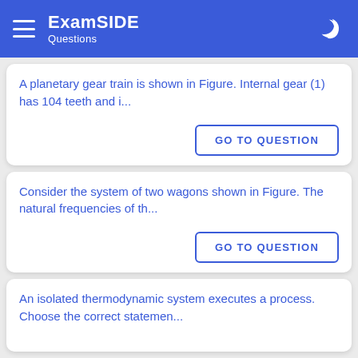ExamSIDE Questions
A planetary gear train is shown in Figure. Internal gear (1) has 104 teeth and i...
GO TO QUESTION
Consider the system of two wagons shown in Figure. The natural frequencies of th...
GO TO QUESTION
An isolated thermodynamic system executes a process. Choose the correct statemen...